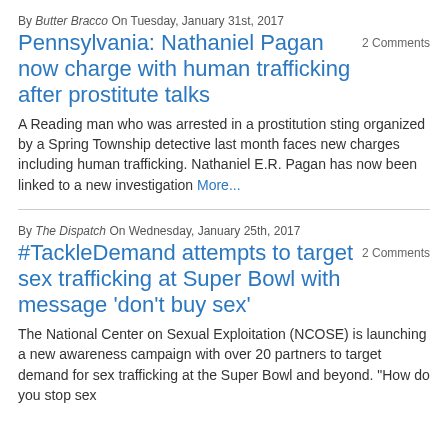By Butter Bracco On Tuesday, January 31st, 2017
Pennsylvania: Nathaniel Pagan now charge with human trafficking after prostitute talks
2 Comments
A Reading man who was arrested in a prostitution sting organized by a Spring Township detective last month faces new charges including human trafficking. Nathaniel E.R. Pagan has now been linked to a new investigation More...
By The Dispatch On Wednesday, January 25th, 2017
#TackleDemand attempts to target sex trafficking at Super Bowl with message 'don't buy sex'
2 Comments
The National Center on Sexual Exploitation (NCOSE) is launching a new awareness campaign with over 20 partners to target demand for sex trafficking at the Super Bowl and beyond. "How do you stop sex